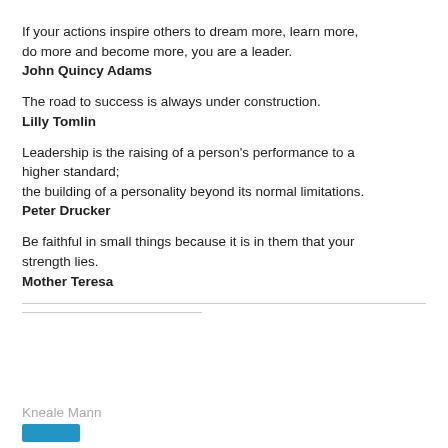If your actions inspire others to dream more, learn more, do more and become more, you are a leader.
John Quincy Adams
The road to success is always under construction.
Lilly Tomlin
Leadership is the raising of a person's performance to a higher standard;
the building of a personality beyond its normal limitations.
Peter Drucker
Be faithful in small things because it is in them that your strength lies.
Mother Teresa
Kneale Mann